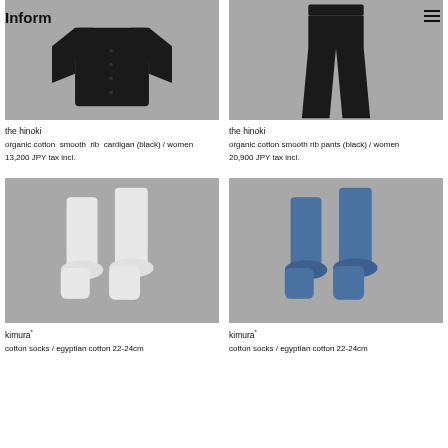Inform…
[Figure (photo): Black organic cotton smooth rib cardigan on gray background]
[Figure (photo): Black organic cotton smooth rib pants on gray background]
the hinoki
organic cotton smooth rib cardigan (black) / women
13,200 JPY tax incl.
the hinoki
organic cotton smooth rib pants (black) / women
20,900 JPY tax incl.
[Figure (photo): White cotton socks (egyptian cotton 22-24cm) on gray background]
[Figure (photo): Blue cotton socks (egyptian cotton 22-24cm) on gray background]
kimura
cotton socks / egyptian cotton 22-24cm
kimura
cotton socks / egyptian cotton 22-24cm